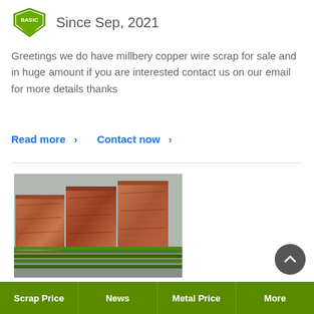[Figure (logo): BASIC badge/shield logo in green and white with a checkmark chevron]
Since Sep, 2021
Greetings we do have millbery copper wire scrap for sale and in huge amount if you are interested contact us on our email for more details thanks
Read more > Contact now >
[Figure (photo): Stacked bales of millberry copper wire scrap on green metal pallets in a warehouse or outdoor area]
Scrap Price | News | Metal Price | More